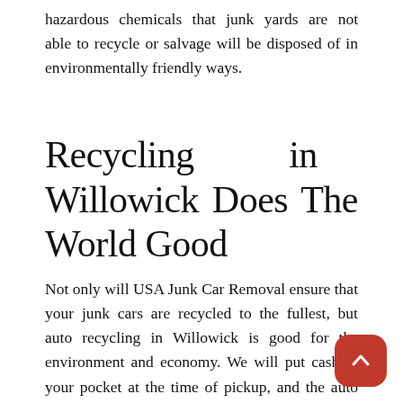hazardous chemicals that junk yards are not able to recycle or salvage will be disposed of in environmentally friendly ways.
Recycling in Willowick Does The World Good
Not only will USA Junk Car Removal ensure that your junk cars are recycled to the fullest, but auto recycling in Willowick is good for the environment and economy. We will put cash in your pocket at the time of pickup, and the auto recycling industry accounts for over 7,000 companies in the US alone, who as a whole employs over 100,000 Americans. The auto salvage and auto wrecking industry is a $25